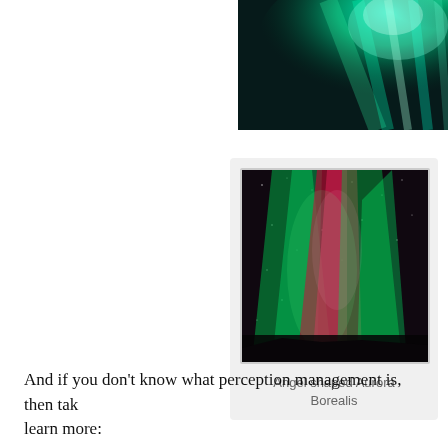[Figure (photo): Aurora Borealis photo showing green glowing lights against dark sky, cropped at top right of page]
[Figure (photo): Angel shaped Aurora Borealis showing green and red aurora lights against dark night sky with stars]
Angel shaped Aurora Borealis
And if you don't know what perception management is, then tak learn more: